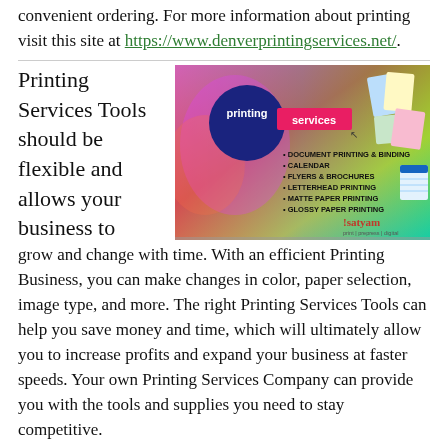convenient ordering. For more information about printing visit this site at https://www.denverprintingservices.net/.
[Figure (illustration): Satyam printing services advertisement banner showing colorful background with printing services listed: Document Printing & Binding, Calendar, Flyers & Brochures, Letterhead Printing, Matte Paper Printing, Glossy Paper Printing, with printed materials displayed on the right.]
Printing Services Tools should be flexible and allows your business to grow and change with time. With an efficient Printing Business, you can make changes in color, paper selection, image type, and more. The right Printing Services Tools can help you save money and time, which will ultimately allow you to increase profits and expand your business at faster speeds. Your own Printing Services Company can provide you with the tools and supplies you need to stay competitive.
Some of the more popular tools include Colorjet Pro, Fujifilm X50, Mineways, and much more. These are great all in one